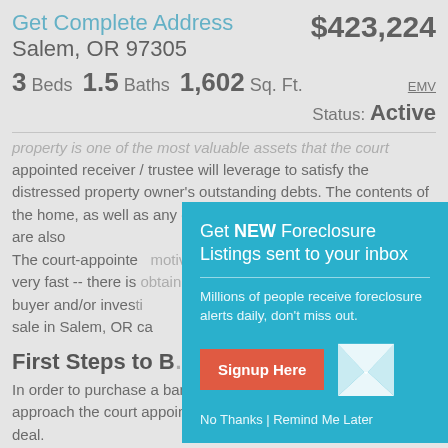Get Complete Address Salem, OR 97305 $423,224 EMV
3 Beds  1.5 Baths  1,602 Sq. Ft.
Status: Active
property is one of the most valuable assets that the court appointed receiver / trustee will leverage to satisfy the distressed property owner's outstanding debts. The contents of the home, as well as any other assets (e.g. cars, boats, etc.), are also...
The court-appointed... motivated to sell a p... very fast -- there is... obtain funds to pay... buyer and/or investi... sale in Salem, OR ca...
[Figure (other): Modal popup overlay: 'Get NEW Foreclosure Listings sent to your inbox' with Signup Here button, mail envelope icon, and No Thanks | Remind Me Later links on teal background]
First Steps to B...
In order to purchase a bankruptcy property, you will need to approach the court appointed receiver / trustee to pursue your deal.